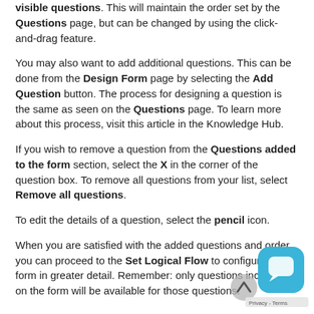visible questions. This will maintain the order set by the Questions page, but can be changed by using the click-and-drag feature.
You may also want to add additional questions. This can be done from the Design Form page by selecting the Add Question button. The process for designing a question is the same as seen on the Questions page. To learn more about this process, visit this article in the Knowledge Hub.
If you wish to remove a question from the Questions added to the form section, select the X in the corner of the question box. To remove all questions from your list, select Remove all questions.
To edit the details of a question, select the pencil icon.
When you are satisfied with the added questions and order, you can proceed to the Set Logical Flow to configure your form in greater detail. Remember: only questions included on the form will be available for those questions.
[Figure (other): Chat widget button (blue rounded square with white chat bubble icon) and scroll-to-top button overlay in bottom right corner, with Privacy - Terms bar at bottom right]